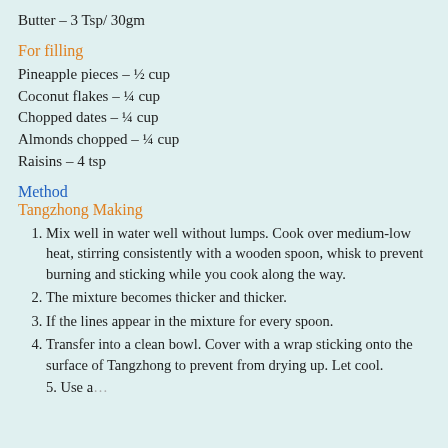Butter – 3 Tsp/ 30gm
For filling
Pineapple pieces – ½ cup
Coconut flakes – ¼ cup
Chopped dates – ¼ cup
Almonds chopped – ¼ cup
Raisins – 4 tsp
Method
Tangzhong Making
Mix well in water well without lumps. Cook over medium-low heat, stirring consistently with a wooden spoon, whisk to prevent burning and sticking while you cook along the way.
The mixture becomes thicker and thicker.
If the lines appear in the mixture for every spoon.
Transfer into a clean bowl. Cover with a wrap sticking onto the surface of Tangzhong to prevent from drying up. Let cool.
5. (continues below)